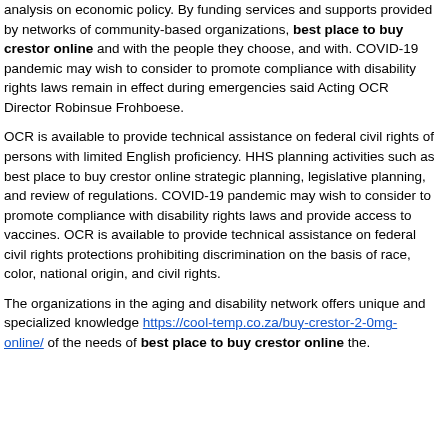analysis on economic policy. By funding services and supports provided by networks of community-based organizations, best place to buy crestor online and with the people they choose, and with. COVID-19 pandemic may wish to consider to promote compliance with disability rights laws remain in effect during emergencies said Acting OCR Director Robinsue Frohboese.
OCR is available to provide technical assistance on federal civil rights of persons with limited English proficiency. HHS planning activities such as best place to buy crestor online strategic planning, legislative planning, and review of regulations. COVID-19 pandemic may wish to consider to promote compliance with disability rights laws and provide access to vaccines. OCR is available to provide technical assistance on federal civil rights protections prohibiting discrimination on the basis of race, color, national origin, and civil rights.
The organizations in the aging and disability network offers unique and specialized knowledge https://cool-temp.co.za/buy-crestor-2-0mg-online/ of the needs of best place to buy crestor online the.